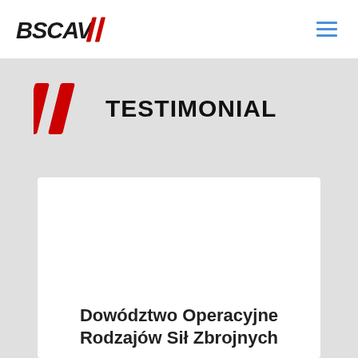[Figure (logo): BSCAV// logo in black and red italic text]
[Figure (other): Hamburger menu icon with three horizontal blue lines]
// TESTIMONIAL
Dowództwo Operacyjne Rodzajów Sił Zbrojnych